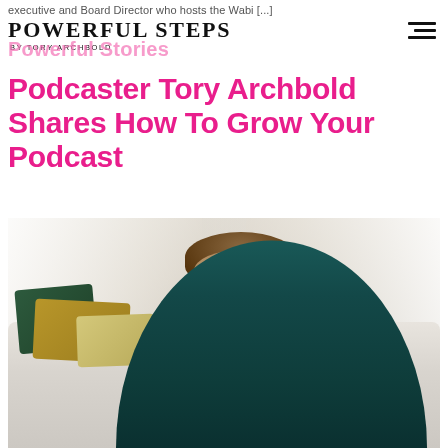executive and Board Director who hosts the Wabi [...]
POWERFUL STEPS
BY TORY ARCHBOLD
Powerful Stories
Podcaster Tory Archbold Shares How To Grow Your Podcast
[Figure (photo): Woman in a teal long-sleeve dress sitting on a white sofa with decorative green and gold pillows, photographed in front of bright sheer curtains]